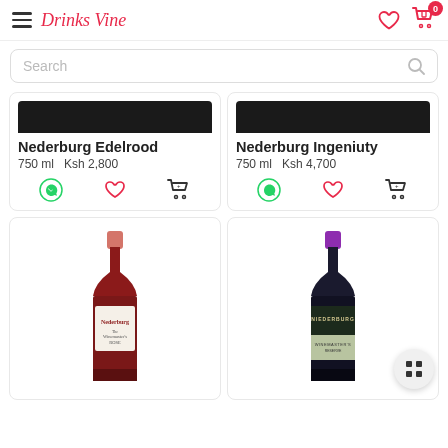Drinks Vine
Search
Nederburg Edelrood
750 ml   Ksh 2,800
Nederburg Ingeniuty
750 ml   Ksh 4,700
[Figure (photo): Wine bottle - Nederburg red wine with salmon/pink cap]
[Figure (photo): Wine bottle - Nederburg dark bottle with purple/magenta cap, Winemaster Reserve label]